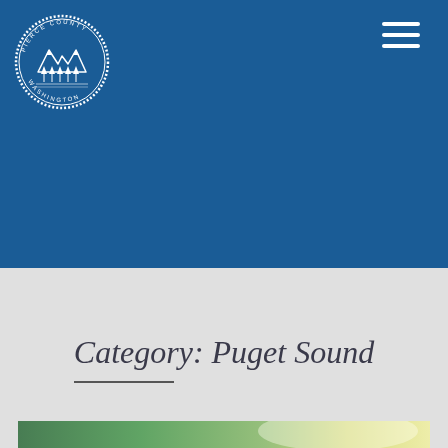[Figure (logo): Pierce County Washington circular seal/logo in white on blue background]
Category: Puget Sound
[Figure (photo): Blurred green and yellow gradient landscape image, partially visible at bottom of page]